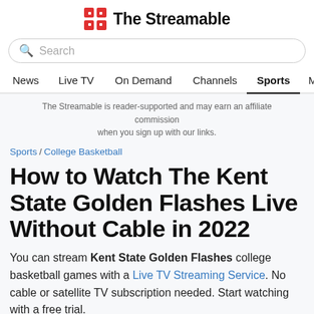The Streamable
Search
News  Live TV  On Demand  Channels  Sports  Movies
The Streamable is reader-supported and may earn an affiliate commission when you sign up with our links.
Sports / College Basketball
How to Watch The Kent State Golden Flashes Live Without Cable in 2022
You can stream Kent State Golden Flashes college basketball games with a Live TV Streaming Service. No cable or satellite TV subscription needed. Start watching with a free trial.